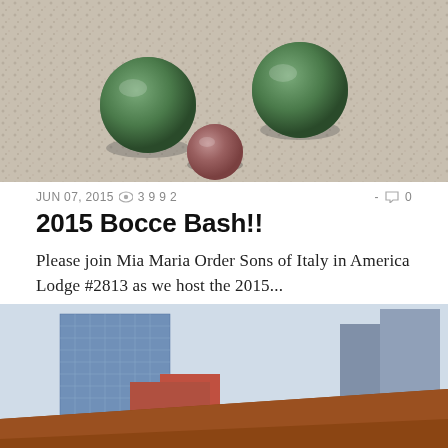[Figure (photo): Close-up photo of bocce balls on a gravel/sand court surface. Two green balls and one reddish-pink ball visible on grey gravel.]
JUN 07, 2015 👁 3 9 9 2
- 💬 0
2015 Bocce Bash!!
Please join Mia Maria Order Sons of Italy in America Lodge #2813 as we host the 2015...
[Figure (photo): Exterior photo of a building with a red/brown shingled roof and white walls. A sign on the front reads 'LITTLE ITALY LODGE OSIA 2286'. City buildings and skyscrapers visible in background.]